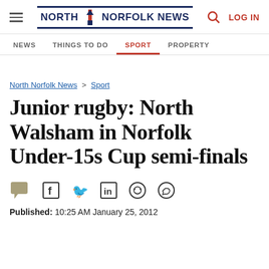North Norfolk News | LOG IN
NEWS | THINGS TO DO | SPORT | PROPERTY
North Norfolk News > Sport
Junior rugby: North Walsham in Norfolk Under-15s Cup semi-finals
Published: 10:25 AM January 25, 2012